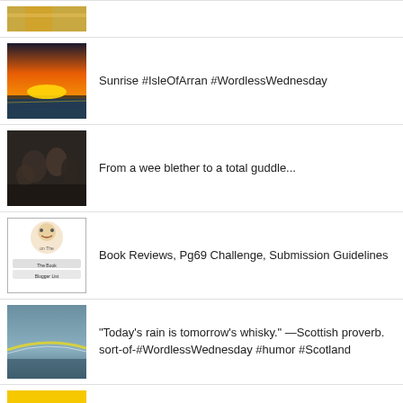[Figure (photo): Partial thumbnail of a golden/brass instrument or decoration, cropped at top]
[Figure (photo): Sunset over water, Isle of Arran]
Sunrise #IsleOfArran #WordlessWednesday
[Figure (photo): Group of people, dark tones]
From a wee blether to a total guddle...
[Figure (illustration): Book Blogger List logo with cartoon character]
Book Reviews, Pg69 Challenge, Submission Guidelines
[Figure (photo): Rainbow over a landscape]
"Today's rain is tomorrow's whisky." —Scottish proverb. sort-of-#WordlessWednesday #humor #Scotland
[Figure (photo): Woman on yellow background]
Laundry, Red Beans, and Rice... #humor #housework
[Figure (photo): British port/tea cup with text RITISH POR:]
Fifty Shades of Earl Grey #ThrowbackThursday #humor #England
[Figure (photo): Small partial thumbnail at bottom]
It's strictly (writing) business. PLUS: #FREE book